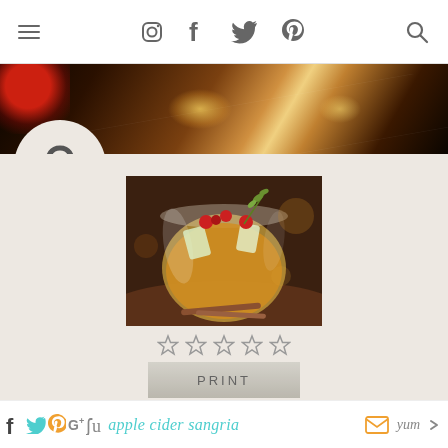Navigation bar with menu, Instagram, Facebook, Twitter, Pinterest icons and search
[Figure (photo): Dark moody hero banner image with warm bokeh lights on wooden surface with red flower]
[Figure (illustration): Kettlebell logo badge on beige rounded tab]
[Figure (photo): Apple cider sangria in a stemless wine glass with cranberries, apple slices, and herb garnish, on a wooden surface with cinnamon sticks]
★★★★★ (empty star rating, 5 stars)
PRINT
apple cider sangria (with social share icons: Facebook, Twitter, Pinterest, Google+, StumbleUpon, Email, Yummly)